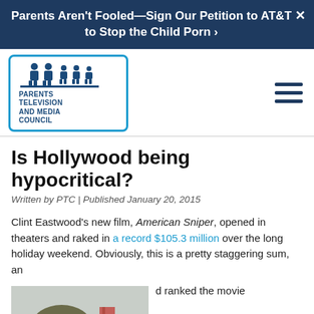Parents Aren't Fooled—Sign Our Petition to AT&T to Stop the Child Porn ›
[Figure (logo): Parents Television and Media Council logo — stylized family figures above a baseline, enclosed in a rounded rectangle border, with organization name below]
Is Hollywood being hypocritical?
Written by PTC | Published January 20, 2015
Clint Eastwood's new film, American Sniper, opened in theaters and raked in a record $105.3 million over the long holiday weekend. Obviously, this is a pretty staggering sum, an
[Figure (photo): Two soldiers in military gear with helmets and goggles, one holding a rifle scope, in an outdoor military setting]
d ranked the movie